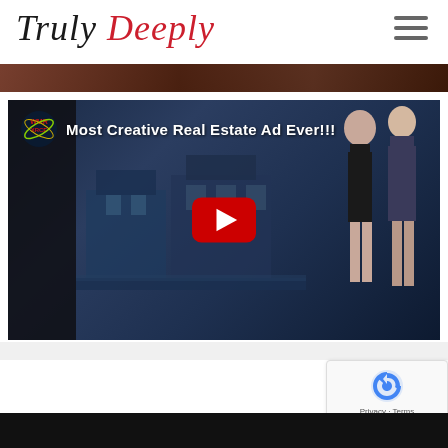Truly Deeply
[Figure (screenshot): YouTube video thumbnail titled 'Most Creative Real Estate Ad Ever!!!' showing a luxury waterfront property with two figures standing on a balcony, a YouTube play button in the center, and a channel icon in the top left.]
[Figure (other): reCAPTCHA badge with privacy and terms link]
[Figure (photo): Bottom dark strip, partial image of black background]